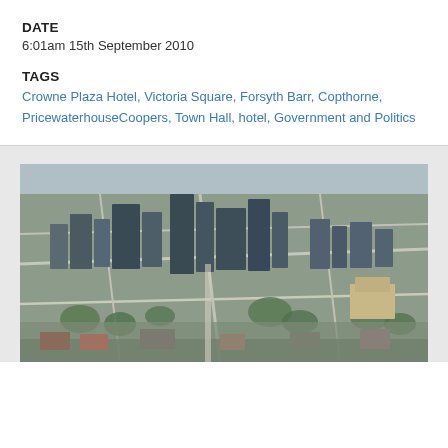DATE
6:01am 15th September 2010
TAGS
Crowne Plaza Hotel, Victoria Square, Forsyth Barr, Copthorne, PricewaterhouseCoopers, Town Hall, hotel, Government and Politics
[Figure (photo): Aerial photograph of a city centre, showing dense urban buildings, roads, and green trees. Likely Christchurch, New Zealand city centre.]